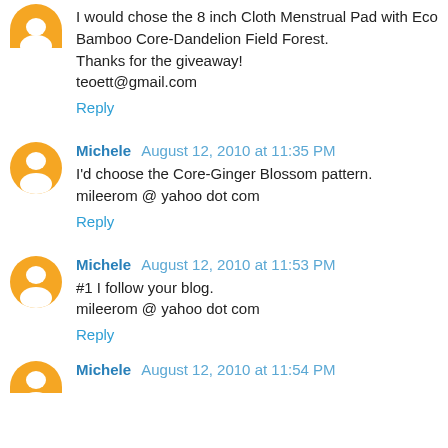I would chose the 8 inch Cloth Menstrual Pad with Eco Bamboo Core-Dandelion Field Forest.
Thanks for the giveaway!
teoett@gmail.com
Reply
Michele  August 12, 2010 at 11:35 PM
I'd choose the Core-Ginger Blossom pattern.
mileerom @ yahoo dot com
Reply
Michele  August 12, 2010 at 11:53 PM
#1 I follow your blog.
mileerom @ yahoo dot com
Reply
Michele  August 12, 2010 at 11:54 PM